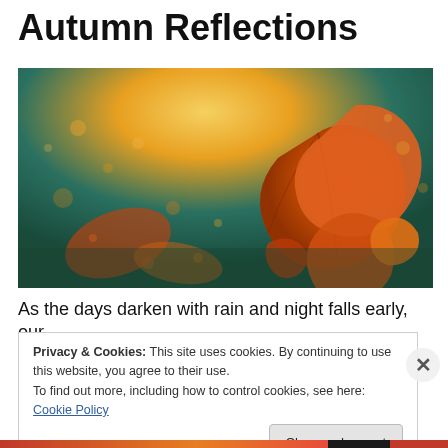Autumn Reflections
[Figure (photo): Close-up photo of autumn leaves with orange, red and gold tones, backlit by a bright golden sunlight with bokeh water droplets and a teal/green blurred background.]
As the days darken with rain and night falls early, our
Privacy & Cookies: This site uses cookies. By continuing to use this website, you agree to their use.
To find out more, including how to control cookies, see here: Cookie Policy
Close and accept